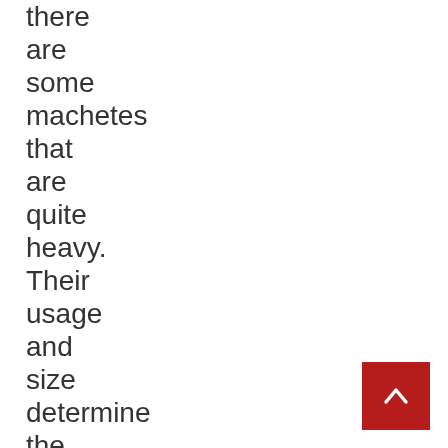there are some machetes that are quite heavy. Their usage and size determine the weight of machetes.